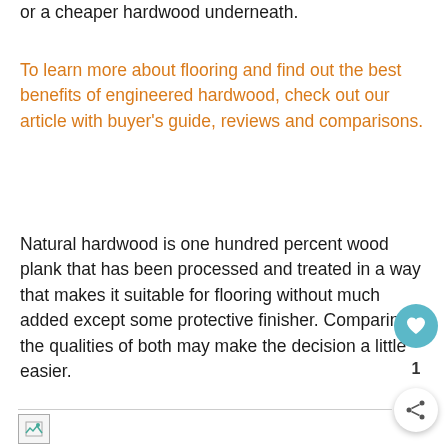or a cheaper hardwood underneath.
To learn more about flooring and find out the best benefits of engineered hardwood, check out our article with buyer's guide, reviews and comparisons.
Natural hardwood is one hundred percent wood plank that has been processed and treated in a way that makes it suitable for flooring without much added except some protective finisher. Comparing the qualities of both may make the decision a little easier.
[Figure (other): Broken image placeholder at the bottom of the page]